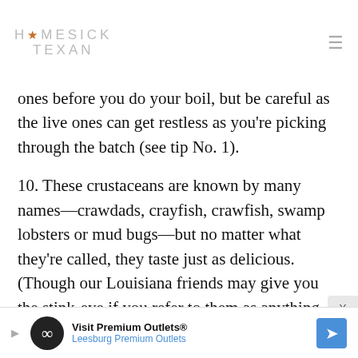HOMESICK TEXAN
ones before you do your boil, but be careful as the live ones can get restless as you're picking through the batch (see tip No. 1).
10. These crustaceans are known by many names—crawdads, crayfish, crawfish, swamp lobsters or mud bugs—but no matter what they're called, they taste just as delicious. (Though our Louisiana friends may give you the stink-eye if you refer to them as anything but crawfish.)
[Figure (other): Advertisement banner for Visit Premium Outlets / Leesburg Premium Outlets with infinity logo and directional arrow icon]